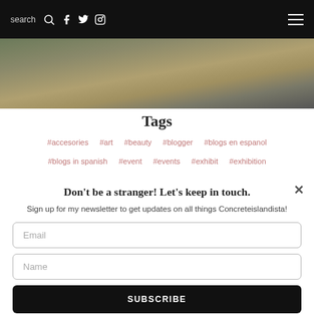search
[Figure (photo): Outdoor photo strip showing a garden or park scene with stone/gravel path and greenery]
Tags
#accesories   #art   #beauty   #blogger   #blogs en espanol
#blogs in spanish   #event   #events   #exhibit   #exhibition
Don't be a stranger! Let's keep in touch.
Sign up for my newsletter to get updates on all things Concreteislandista!
Email
Name
SUBSCRIBE